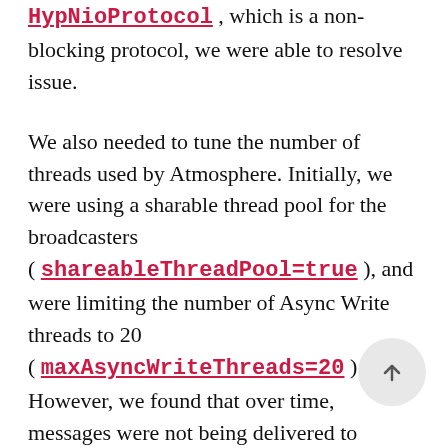HypNioProtocol, which is a non-blocking protocol, we were able to resolve issue.
We also needed to tune the number of threads used by Atmosphere. Initially, we were using a sharable thread pool for the broadcasters ( shareableThreadPool=true ), and were limiting the number of Async Write threads to 20 ( maxAsyncWriteThreads=20 ). However, we found that over time, messages were not being delivered to clients.
The root cause was that the broadcasters were unable to get a thread from the limited pool. We changed the Async Write threads to be unbounded